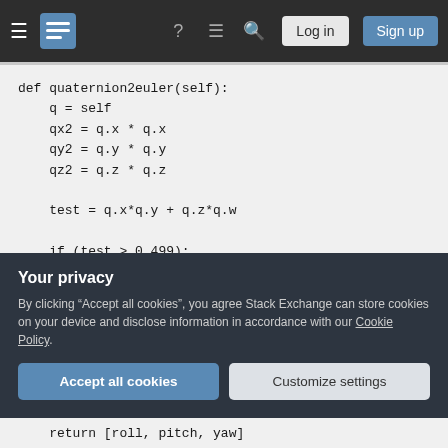Stack Exchange navigation bar with hamburger menu, logo, help, chat, search icons, Log in and Sign up buttons
[Figure (screenshot): Code block showing Python function quaternion2euler(self) with variable assignments qx2, qy2, qz2, test, and conditionals if/elif checking test values against 0.499]
Your privacy
By clicking "Accept all cookies", you agree Stack Exchange can store cookies on your device and disclose information in accordance with our Cookie Policy.
Accept all cookies
Customize settings
return [roll, pitch, yaw]